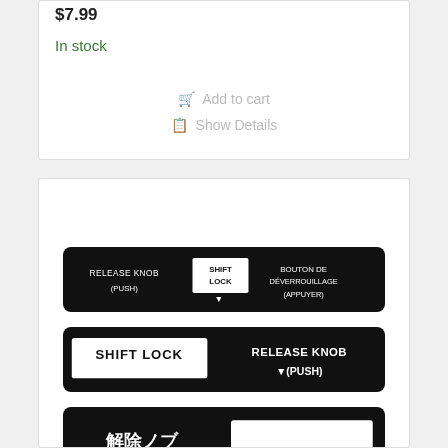$7.99
In stock
Add to cart
Show Details
[Figure (photo): Product listing card showing three shift lock release knob labels/stickers. Top label is black background with white text: 'RELEASE KNOB (PUSH)' on left, 'SHIFT LOCK' in white box center, and 'BOUTON DE DÉVERROUILLAGE (APPUYER)' on right with a downward arrow. Middle label is black background with white text: large 'SHIFT LOCK' in white outlined box on left, and 'RELEASE KNOB (PUSH)' with downward arrow on right. Bottom label (partially visible) is black background with Japanese text: '解除ノブ (PUSH)' on left and 'シフトロック' on right.]